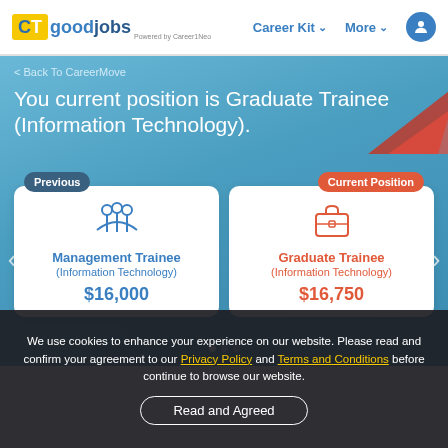CT goodjobs | Career Kit | More
< Back To CareerMove
You current position is Graduate Trainee (Information Technology).
Previous | Management Trainee (Information Technology) $16,000
Current Position | Graduate Trainee (Information Technology) $16,750
We use cookies to enhance your experience on our website. Please read and confirm your agreement to our Privacy Policy and Terms and Conditions before continue to browse our website.
Read and Agreed